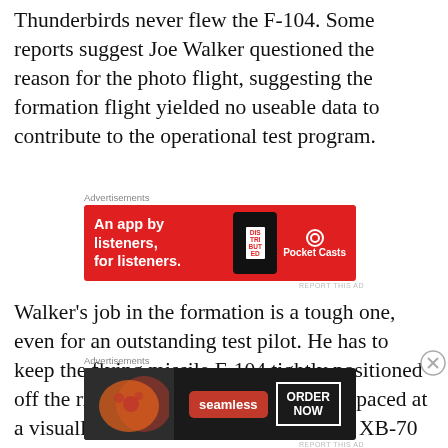Thunderbirds never flew the F-104. Some reports suggest Joe Walker questioned the reason for the photo flight, suggesting the formation flight yielded no useable data to contribute to the operational test program.
[Figure (infographic): Pocket Casts advertisement: red background with text 'An app by listeners, for listeners.' and Pocket Casts branding with phone graphic]
Walker's job in the formation is a tough one, even for an outstanding test pilot. He has to keep the flying missile F-104 tightly positioned off the right wingtip of the XB-70 and spaced at a visually pleasing interval between the XB-70 and the F-
[Figure (infographic): Seamless food delivery advertisement with pizza image, Seamless branding, and ORDER NOW button]